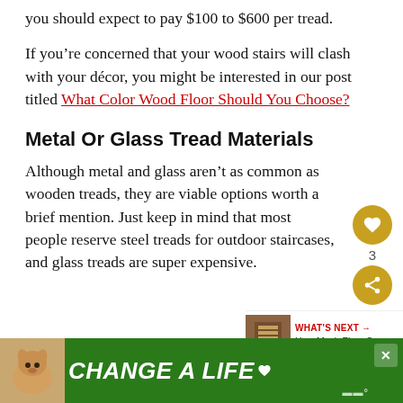you should expect to pay $100 to $600 per tread.
If you’re concerned that your wood stairs will clash with your décor, you might be interested in our post titled What Color Wood Floor Should You Choose?
Metal Or Glass Tread Materials
Although metal and glass aren’t as common as wooden treads, they are viable options worth a brief mention. Just keep in mind that most people reserve steel treads for outdoor staircases, and glass treads are super expensive.
[Figure (screenshot): Advertisement banner at the bottom of the page. Green background with a dog image on the left, text 'CHANGE A LIFE' in large white italic font, a close button, and a media logo.]